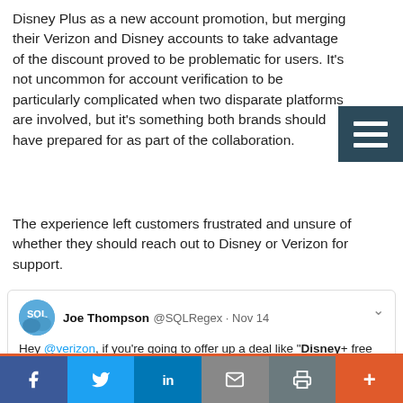Disney Plus as a new account promotion, but merging their Verizon and Disney accounts to take advantage of the discount proved to be problematic for users. It's not uncommon for account verification to be particularly complicated when two disparate platforms are involved, but it's something both brands should have prepared for as part of the collaboration.

The experience left customers frustrated and unsure of whether they should reach out to Disney or Verizon for support.
[Figure (screenshot): Tweet by Joe Thompson (@SQLRegex) dated Nov 14: 'Hey @verizon, if you're going to offer up a deal like "Disney+ free for a year based on plan", make sure your systems are scalable enough to handle the onslaught. Otherwise you're just asking for a customer service nightmare.' with action icons at bottom.]
[Figure (infographic): Social sharing bar with Facebook (blue), Twitter (light blue), LinkedIn (dark blue), Email (gray), Print (gray-teal), and More (orange) buttons.]